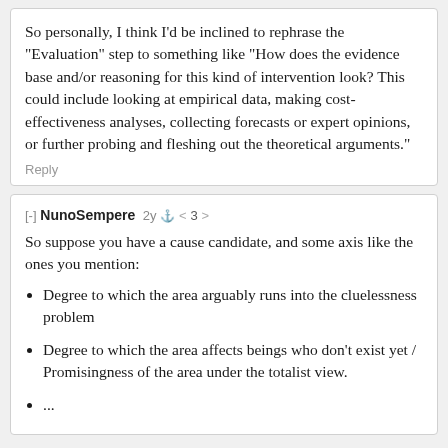So personally, I think I'd be inclined to rephrase the "Evaluation" step to something like "How does the evidence base and/or reasoning for this kind of intervention look? This could include looking at empirical data, making cost-effectiveness analyses, collecting forecasts or expert opinions, or further probing and fleshing out the theoretical arguments."
Reply
[-] NunoSempere  2y  < 3 >
So suppose you have a cause candidate, and some axis like the ones you mention:
Degree to which the area arguably runs into the cluelessness problem
Degree to which the area affects beings who don't exist yet / Promisingness of the area under the totalist view.
...